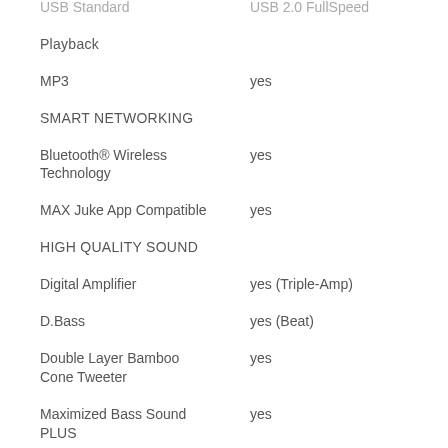| Feature | Value |
| --- | --- |
| USB Standard | USB 2.0 FullSpeed |
| Playback |  |
| MP3 | yes |
| SMART NETWORKING |  |
| Bluetooth® Wireless Technology | yes |
| MAX Juke App Compatible | yes |
| HIGH QUALITY SOUND |  |
| Digital Amplifier | yes (Triple-Amp) |
| D.Bass | yes (Beat) |
| Double Layer Bamboo Cone Tweeter | yes |
| Maximized Bass Sound PLUS | yes |